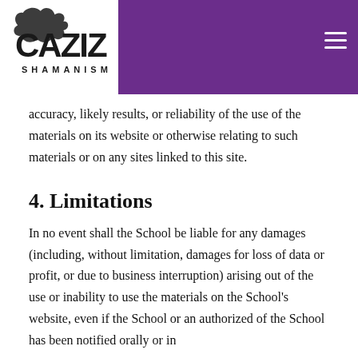CAZIZ SHAMANISM
accuracy, likely results, or reliability of the use of the materials on its website or otherwise relating to such materials or on any sites linked to this site.
4. Limitations
In no event shall the School be liable for any damages (including, without limitation, damages for loss of data or profit, or due to business interruption) arising out of the use or inability to use the materials on the School's website, even if the School or an authorized of the School has been notified orally or in